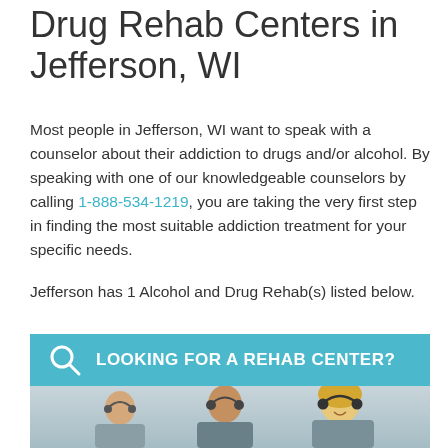Drug Rehab Centers in Jefferson, WI
Most people in Jefferson, WI want to speak with a counselor about their addiction to drugs and/or alcohol. By speaking with one of our knowledgeable counselors by calling 1-888-534-1219, you are taking the very first step in finding the most suitable addiction treatment for your specific needs.
Jefferson has 1 Alcohol and Drug Rehab(s) listed below.
LOOKING FOR A REHAB CENTER?
[Figure (photo): Photo of customer service representatives wearing headsets, smiling]